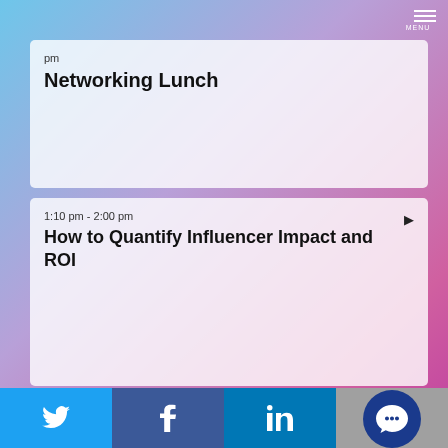[Figure (infographic): Hamburger menu icon with label in top right corner]
pm
Networking Lunch
1:10 pm - 2:00 pm
How to Quantify Influencer Impact and ROI
2:10 pm - 3:00 pm
Measuring Relevance Through Media Coverage
3:10 pm - 4:00 pm
Going Native: Social
[Figure (infographic): Bottom social bar with Twitter, Facebook, LinkedIn icons and chat button]